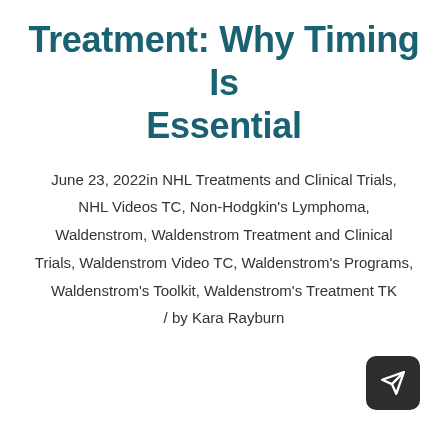Treatment: Why Timing Is Essential
June 23, 2022in NHL Treatments and Clinical Trials, NHL Videos TC, Non-Hodgkin's Lymphoma, Waldenstrom, Waldenstrom Treatment and Clinical Trials, Waldenstrom Video TC, Waldenstrom's Programs, Waldenstrom's Toolkit, Waldenstrom's Treatment TK / by Kara Rayburn